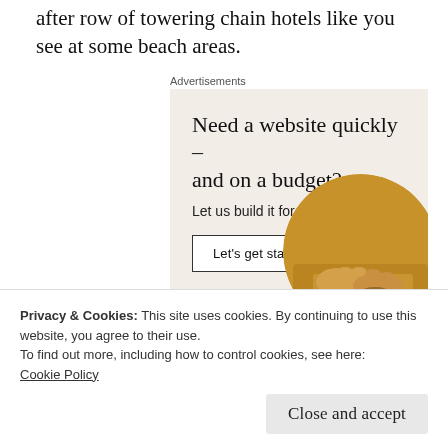after row of towering chain hotels like you see at some beach areas.
Advertisements
[Figure (infographic): Advertisement banner with beige background. Headline: 'Need a website quickly – and on a budget?' Subtext: 'Let us build it for you'. Button: 'Let's get started'. Photo of person's hands on a laptop in a circular crop on the right side.]
Privacy & Cookies: This site uses cookies. By continuing to use this website, you agree to their use.
To find out more, including how to control cookies, see here: Cookie Policy
Close and accept
check out my previous post, as mentioned in